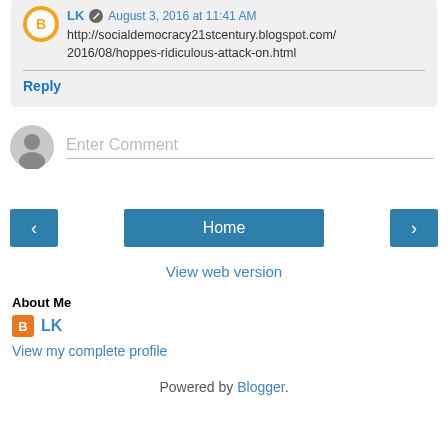LK · August 3, 2016 at 11:41 AM
http://socialdemocracy21stcentury.blogspot.com/2016/08/hoppes-ridiculous-attack-on.html
Reply
Enter Comment
Home
View web version
About Me
LK
View my complete profile
Powered by Blogger.